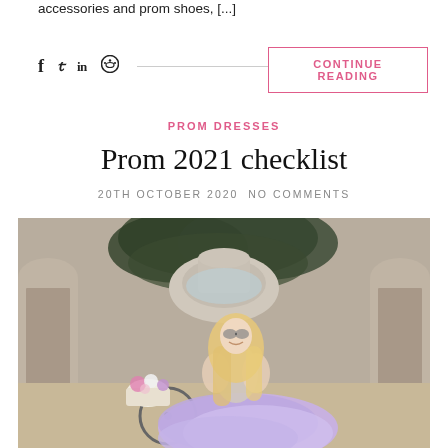accessories and prom shoes, [...]
f y in (reddit icon) — social share icons — CONTINUE READING
PROM DRESSES
Prom 2021 checklist
20TH OCTOBER 2020 NO COMMENTS
[Figure (photo): Young blonde woman in lavender tulle ball gown sitting on a bicycle in front of a stone fountain and ivy-covered wall with arched alcoves. She is wearing sunglasses and smiling, with a flower basket on the bicycle.]